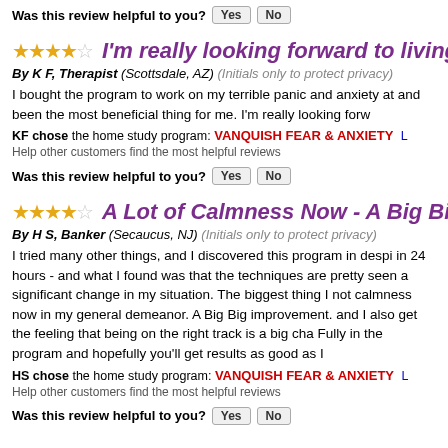Was this review helpful to you? Yes No
★★★★☆ I'm really looking forward to living a lif
By K F, Therapist (Scottsdale, AZ) (Initials only to protect privacy)
I bought the program to work on my terrible panic and anxiety at and been the most beneficial thing for me. I'm really looking forw
KF chose the home study program: VANQUISH FEAR & ANXIETY L
Help other customers find the most helpful reviews
Was this review helpful to you? Yes No
★★★★☆ A Lot of Calmness Now - A Big Big imp
By H S, Banker (Secaucus, NJ) (Initials only to protect privacy)
I tried many other things, and I discovered this program in despi in 24 hours - and what I found was that the techniques are pretty seen a significant change in my situation. The biggest thing I not calmness now in my general demeanor. A Big Big improvement. and I also get the feeling that being on the right track is a big cha Fully in the program and hopefully you'll get results as good as I
HS chose the home study program: VANQUISH FEAR & ANXIETY L
Help other customers find the most helpful reviews
Was this review helpful to you? Yes No